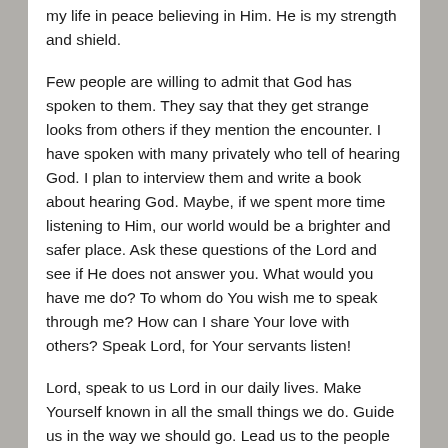my life in peace believing in Him. He is my strength and shield.
Few people are willing to admit that God has spoken to them. They say that they get strange looks from others if they mention the encounter. I have spoken with many privately who tell of hearing God. I plan to interview them and write a book about hearing God. Maybe, if we spent more time listening to Him, our world would be a brighter and safer place. Ask these questions of the Lord and see if He does not answer you. What would you have me do? To whom do You wish me to speak through me? How can I share Your love with others? Speak Lord, for Your servants listen!
Lord, speak to us Lord in our daily lives. Make Yourself known in all the small things we do. Guide us in the way we should go. Lead us to the people to whom You wish to speak through our lives today! In Your name we pray! Amen!